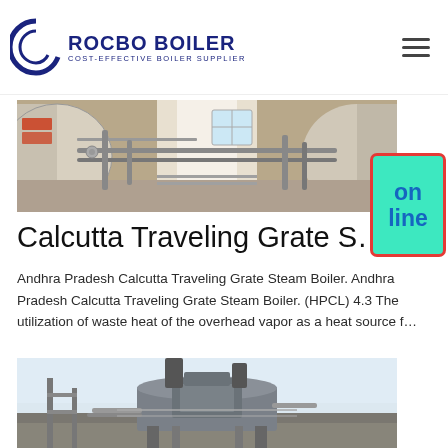ROCBO BOILER COST-EFFECTIVE BOILER SUPPLIER
[Figure (photo): Indoor industrial boiler facility showing large cylindrical boiler tanks with pipes and fittings in a warehouse-like setting]
Calcutta Traveling Grate Steam Boil...
Andhra Pradesh Calcutta Traveling Grate Steam Boiler. Andhra Pradesh Calcutta Traveling Grate Steam Boiler. (HPCL) 4.3 The utilization of waste heat of the overhead vapor as a heat source f…
[Figure (photo): Outdoor industrial boiler installation showing a large boiler unit with chimneys/stacks mounted on rooftop structure against a clear sky]